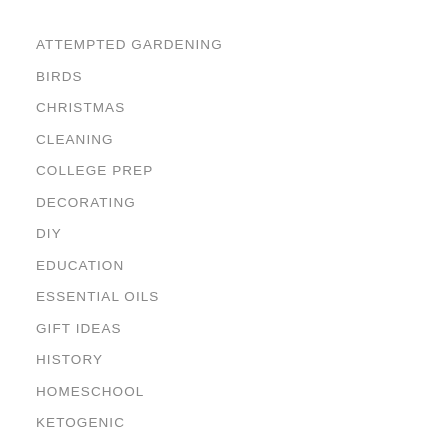ATTEMPTED GARDENING
BIRDS
CHRISTMAS
CLEANING
COLLEGE PREP
DECORATING
DIY
EDUCATION
ESSENTIAL OILS
GIFT IDEAS
HISTORY
HOMESCHOOL
KETOGENIC
NATURE
RECIPES